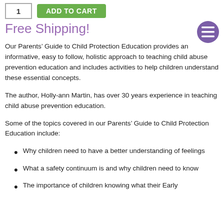Free Shipping!
Our Parents’ Guide to Child Protection Education provides an informative, easy to follow, holistic approach to teaching child abuse prevention education and includes activities to help children understand these essential concepts.
The author, Holly-ann Martin, has over 30 years experience in teaching child abuse prevention education.
Some of the topics covered in our Parents’ Guide to Child Protection Education include:
Why children need to have a better understanding of feelings
What a safety continuum is and why children need to know
The importance of children knowing what their Early…